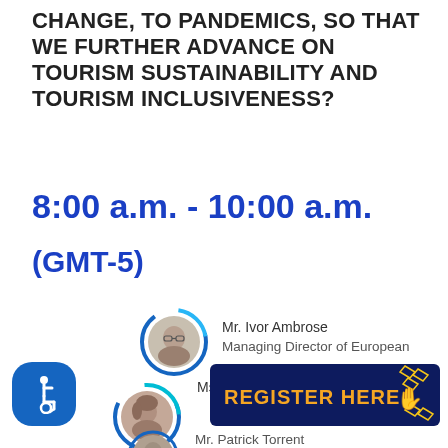CHANGE, TO PANDEMICS, SO THAT WE FURTHER ADVANCE ON TOURISM SUSTAINABILITY AND TOURISM INCLUSIVENESS?
8:00 a.m. - 10:00 a.m.
(GMT-5)
[Figure (photo): Circular avatar photo of Mr. Ivor Ambrose with blue arc ring decoration]
Mr. Ivor Ambrose
Managing Director of European
[Figure (photo): Circular avatar photo of Ms. Lyublena Dimova with blue/teal arc ring decoration]
Ms. Lyublena Dimova
[Figure (infographic): REGISTER HERE button with hand/click icon, dark navy background, gold text]
[Figure (photo): Circular avatar photo of Mr. Patrick Torrent]
Mr. Patrick Torrent
[Figure (logo): Blue wheelchair accessibility icon button]